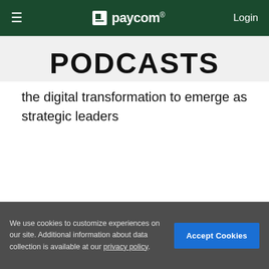≡  paycom®  Login
PODCASTS
the digital transformation to emerge as strategic leaders
Click here to learn more about Paycom's newest communication tool, Ask Here, or visit us at booth
We use cookies to customize experiences on our site. Additional information about data collection is available at our privacy policy.